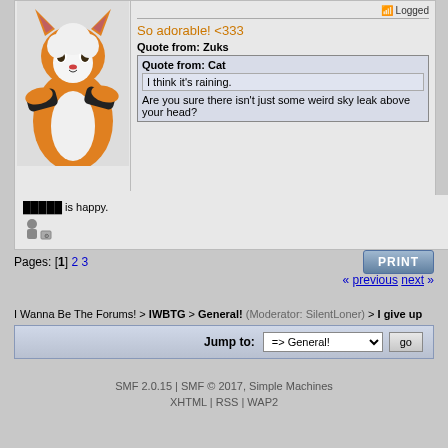[Figure (illustration): Anime/furry character illustration - orange and white anthropomorphic cat/fox with crossed arms, wearing black arm warmers]
Logged
So adorable! <333
Quote from: Zuks
Quote from: Cat
I think it's raining.
Are you sure there isn't just some weird sky leak above your head?
█████ is happy.
Pages: [1] 2 3
PRINT
« previous next »
I Wanna Be The Forums! > IWBTG > General! (Moderator: SilentLoner) > I give up
Jump to: => General! go
SMF 2.0.15 | SMF © 2017, Simple Machines
XHTML | RSS | WAP2